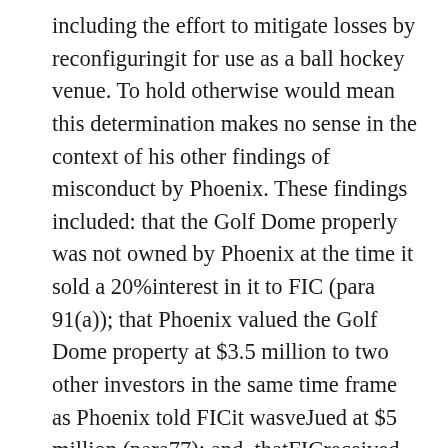including the effort to mitigate losses by reconfiguringit for use as a ball hockey venue. To hold otherwise would mean this determination makes no sense in the context of his other findings of misconduct by Phoenix. These findings included: that the Golf Dome properly was not owned by Phoenix at the time it sold a 20%interest in it to FIC (para 91(a)); that Phoenix valued the Golf Dome property at $3.5 million to two other investors in the same time frame as Phoenix told FICit wasveJued at $5 million (para77); and, thatFICreceived no report from Phoenix thatthe Cityof Edmonton hadrefused to rezone the property for a hotel redevelopment (para91(c)),